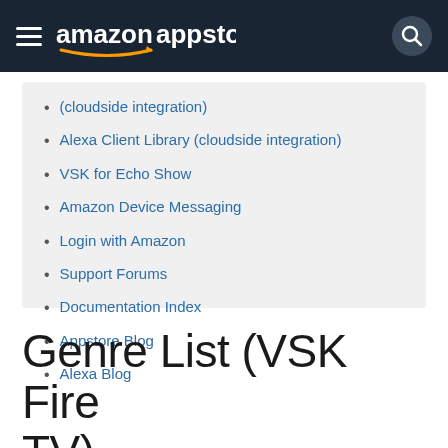amazon appstore
(cloudside integration)
Alexa Client Library (cloudside integration)
VSK for Echo Show
Amazon Device Messaging
Login with Amazon
Support Forums
Documentation Index
Appstore Blog
Alexa Blog
Genre List (VSK Fire TV)